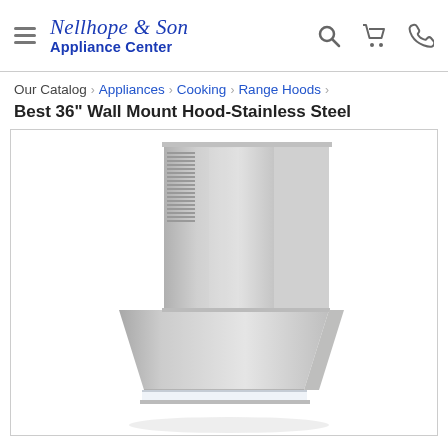Nellhope & Son Appliance Center — navigation header with hamburger menu, logo, search, cart, and phone icons
Our Catalog › Appliances › Cooking › Range Hoods ›
Best 36" Wall Mount Hood-Stainless Steel
[Figure (photo): Product photo of a stainless steel 36-inch wall mount range hood showing a tall rectangular chimney stack above a wider canopy base, photographed against a white background]